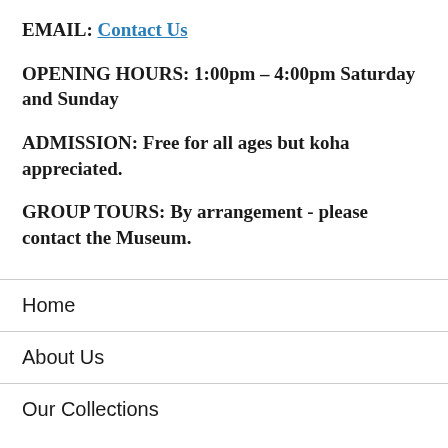EMAIL: Contact Us
OPENING HOURS: 1:00pm – 4:00pm Saturday and Sunday
ADMISSION: Free for all ages but koha appreciated.
GROUP TOURS: By arrangement - please contact the Museum.
Home
About Us
Our Collections